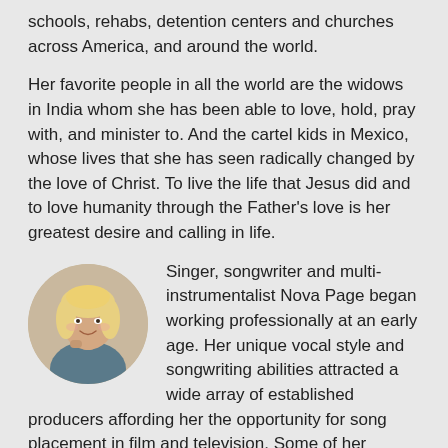schools, rehabs, detention centers and churches across America, and around the world.
Her favorite people in all the world are the widows in India whom she has been able to love, hold, pray with, and minister to. And the cartel kids in Mexico, whose lives that she has seen radically changed by the love of Christ. To live the life that Jesus did and to love humanity through the Father's love is her greatest desire and calling in life.
[Figure (photo): Circular portrait photo of a blonde woman resting her chin on her hand, smiling, in a casual indoor setting.]
Singer, songwriter and multi-instrumentalist Nova Page began working professionally at an early age. Her unique vocal style and songwriting abilities attracted a wide array of established producers affording her the opportunity for song placement in film and television. Some of her placements include credits in the mega latin hit show 'Morde Y Assopra' in which Nova shares the soundtrack alongside Adele, Shakira,